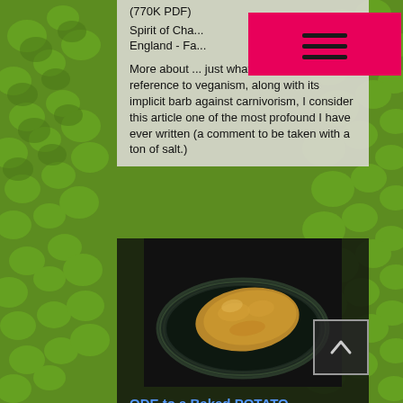[Figure (photo): Green leaf/pebble texture background filling the entire page]
(770K PDF)
Spirit of Cha... England - Fa...
[Figure (other): Hot pink/magenta hamburger menu button overlay with three horizontal lines icon]
More about ... just what to eat. With a short reference to veganism, along with its implicit barb against carnivorism, I consider this article one of the most profound I have ever written (a comment to be taken with a ton of salt.)
[Figure (photo): Photo of a baked potato in a dark plastic/foil tray container on black background]
[Figure (other): Scroll-to-top button: square with upward chevron arrow, positioned at right side]
ODE to a Baked POTATO
(300K PDF)